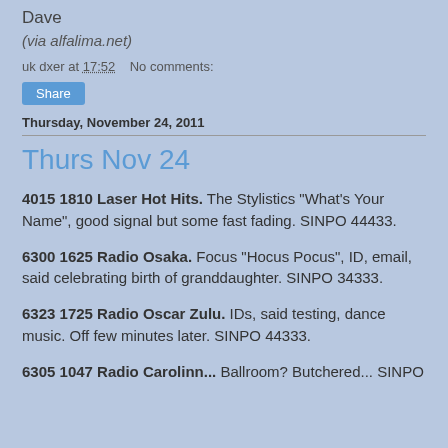Dave
(via alfalima.net)
uk dxer at 17:52   No comments:
Share
Thursday, November 24, 2011
Thurs Nov 24
4015 1810 Laser Hot Hits. The Stylistics "What's Your Name", good signal but some fast fading. SINPO 44433.
6300 1625 Radio Osaka. Focus "Hocus Pocus", ID, email, said celebrating birth of granddaughter. SINPO 34333.
6323 1725 Radio Oscar Zulu. IDs, said testing, dance music. Off few minutes later. SINPO 44333.
6305 1047 Radio Carolinn... Ballroom? Butchered... SINPO